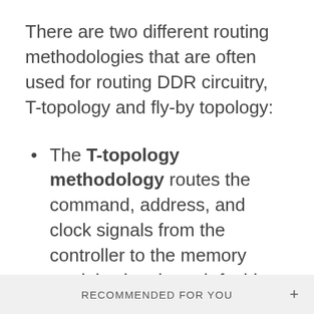There are two different routing methodologies that are often used for routing DDR circuitry, T-topology and fly-by topology:
The T-topology methodology routes the command, address, and clock signals from the controller to the memory modules in a branch fashion while the data lines are directly connected. This methodology was
RECOMMENDED FOR YOU